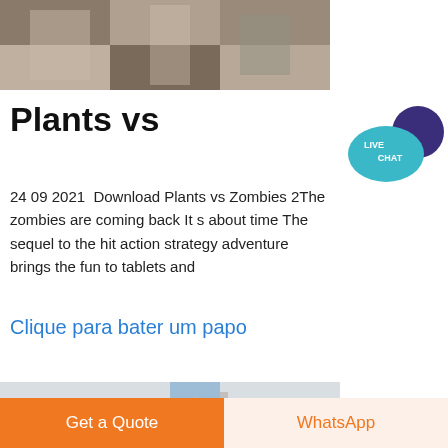[Figure (photo): Industrial machinery / mining equipment photo at top of page]
Plants vs
[Figure (other): Live Chat bubble widget - teal circle with LIVE CHAT text and dark purple speech bubble]
24 09 2021  Download Plants vs Zombies 2The zombies are coming back It s about time The sequel to the hit action strategy adventure brings the fun to tablets and
Clique para bater um papo
[Figure (photo): Industrial conveyor belt / crushing plant machinery photo]
Get a Quote
WhatsApp